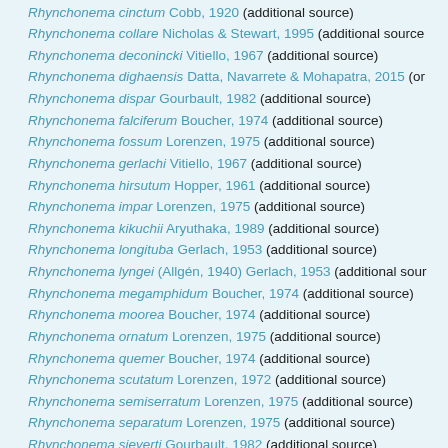Rhynchonema cinctum Cobb, 1920 (additional source)
Rhynchonema collare Nicholas & Stewart, 1995 (additional source)
Rhynchonema deconincki Vitiello, 1967 (additional source)
Rhynchonema dighaensis Datta, Navarrete & Mohapatra, 2015 (or…
Rhynchonema dispar Gourbault, 1982 (additional source)
Rhynchonema falciferum Boucher, 1974 (additional source)
Rhynchonema fossum Lorenzen, 1975 (additional source)
Rhynchonema gerlachi Vitiello, 1967 (additional source)
Rhynchonema hirsutum Hopper, 1961 (additional source)
Rhynchonema impar Lorenzen, 1975 (additional source)
Rhynchonema kikuchii Aryuthaka, 1989 (additional source)
Rhynchonema longituba Gerlach, 1953 (additional source)
Rhynchonema lyngei (Allgén, 1940) Gerlach, 1953 (additional source)
Rhynchonema megamphidum Boucher, 1974 (additional source)
Rhynchonema moorea Boucher, 1974 (additional source)
Rhynchonema ornatum Lorenzen, 1975 (additional source)
Rhynchonema quemer Boucher, 1974 (additional source)
Rhynchonema scutatum Lorenzen, 1972 (additional source)
Rhynchonema semiserratum Lorenzen, 1975 (additional source)
Rhynchonema separatum Lorenzen, 1975 (additional source)
Rhynchonema sieverti Gourbault, 1982 (additional source)
Rhynchonema subsetosum Murphy, 1964 (additional source)
Rhynchonema tomakinense Nicholas & Stewart, 1995 (additional source)
Rhynchonema tremendum Lorenzen, 1975 (additional source)
Rhynchonema veronicae Bezerra, Smol & Vincx, 2014 (additional source)
Rhynchonema xiamenensis Huang & Liu, 2002 (additional source)